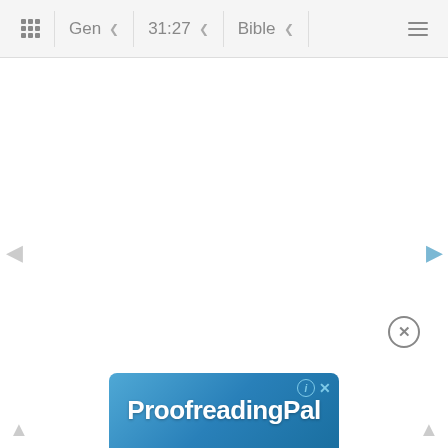Gen 31:27 Bible
[Figure (screenshot): Bible reading app interface showing navigation bar with book selector (Gen), chapter:verse selector (31:27), and Bible version selector. Main content area is blank/white. Left and right navigation arrows are visible on sides. An advertisement banner for ProofreadingPal appears at the bottom.]